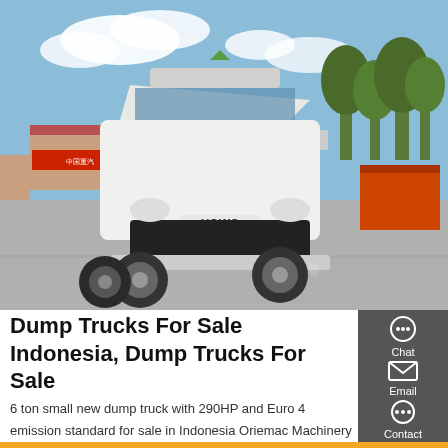[Figure (photo): White HOWO dump truck/tractor parked in a yard with trees and buildings in the background, blue sky with clouds]
Dump Trucks For Sale Indonesia, Dump Trucks For Sale
6 ton small new dump truck with 290HP and Euro 4 emission standard for sale in Indonesia Oriemac Machinery & Equipment (Shanghai) Co., Ltd. US $30400-30500 / Set 1 Set (Min. Order)